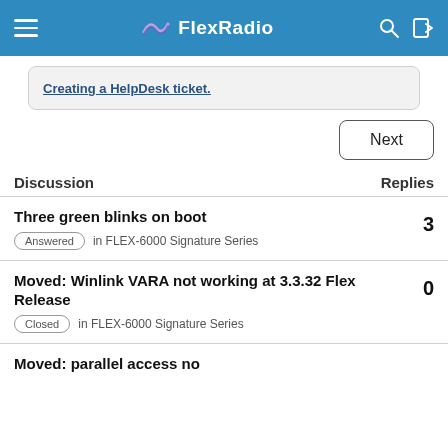FlexRadio
Creating a HelpDesk ticket.
Next
Discussion    Replies
Three green blinks on boot • Answered in FLEX-6000 Signature Series • 3 replies
Moved: Winlink VARA not working at 3.3.32 Flex Release • Closed in FLEX-6000 Signature Series • 0 replies
Moved: parallel access no